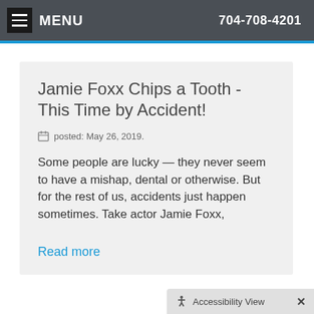MENU   704-708-4201
Jamie Foxx Chips a Tooth - This Time by Accident!
posted: May 26, 2019.
Some people are lucky — they never seem to have a mishap, dental or otherwise. But for the rest of us, accidents just happen sometimes. Take actor Jamie Foxx,
Read more